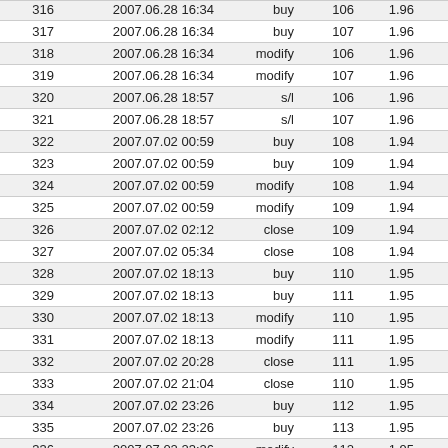| 316 | 2007.06.28 16:34 | buy | 106 | 1.96 |  |
| 317 | 2007.06.28 16:34 | buy | 107 | 1.96 |  |
| 318 | 2007.06.28 16:34 | modify | 106 | 1.96 |  |
| 319 | 2007.06.28 16:34 | modify | 107 | 1.96 |  |
| 320 | 2007.06.28 18:57 | s/l | 106 | 1.96 |  |
| 321 | 2007.06.28 18:57 | s/l | 107 | 1.96 |  |
| 322 | 2007.07.02 00:59 | buy | 108 | 1.94 |  |
| 323 | 2007.07.02 00:59 | buy | 109 | 1.94 |  |
| 324 | 2007.07.02 00:59 | modify | 108 | 1.94 |  |
| 325 | 2007.07.02 00:59 | modify | 109 | 1.94 |  |
| 326 | 2007.07.02 02:12 | close | 109 | 1.94 |  |
| 327 | 2007.07.02 05:34 | close | 108 | 1.94 |  |
| 328 | 2007.07.02 18:13 | buy | 110 | 1.95 |  |
| 329 | 2007.07.02 18:13 | buy | 111 | 1.95 |  |
| 330 | 2007.07.02 18:13 | modify | 110 | 1.95 |  |
| 331 | 2007.07.02 18:13 | modify | 111 | 1.95 |  |
| 332 | 2007.07.02 20:28 | close | 111 | 1.95 |  |
| 333 | 2007.07.02 21:04 | close | 110 | 1.95 |  |
| 334 | 2007.07.02 23:26 | buy | 112 | 1.95 |  |
| 335 | 2007.07.02 23:26 | buy | 113 | 1.95 |  |
| 336 | 2007.07.02 23:26 | modify | 112 | 1.95 |  |
| 337 | 2007.07.02 23:26 | modify | 113 | 1.95 |  |
| 338 | 2007.07.03 01:30 | close | 113 | 1.95 |  |
| 339 | 2007.07.03 05:19 | close | 112 | 1.95 |  |